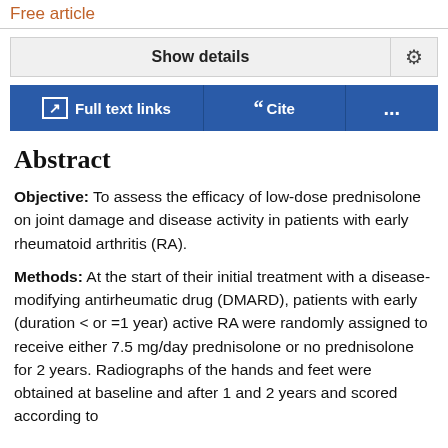Free article
Show details
Full text links
Cite
...
Abstract
Objective: To assess the efficacy of low-dose prednisolone on joint damage and disease activity in patients with early rheumatoid arthritis (RA).
Methods: At the start of their initial treatment with a disease-modifying antirheumatic drug (DMARD), patients with early (duration < or =1 year) active RA were randomly assigned to receive either 7.5 mg/day prednisolone or no prednisolone for 2 years. Radiographs of the hands and feet were obtained at baseline and after 1 and 2 years and scored according to